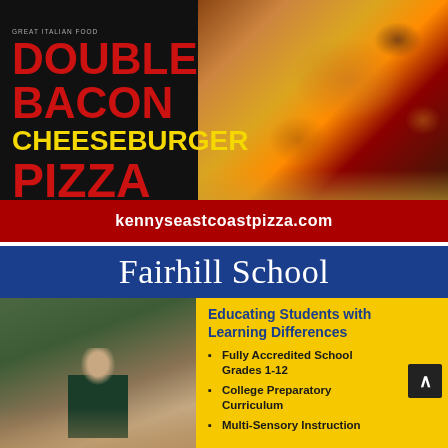[Figure (advertisement): Pizza advertisement for Kenny's East Coast Pizza featuring Double Bacon Cheeseburger Pizza with photo of pizza being served, red text on dark background]
kennyseastcoastpizza.com
[Figure (advertisement): Fairhill School advertisement with blue header, yellow body section, photo of student reading, and bullet points about educational offerings]
Fairhill School
Educating Students with Learning Differences
Fully Accredited School Grades 1-12
College Preparatory Curriculum
Multi-Sensory Instruction